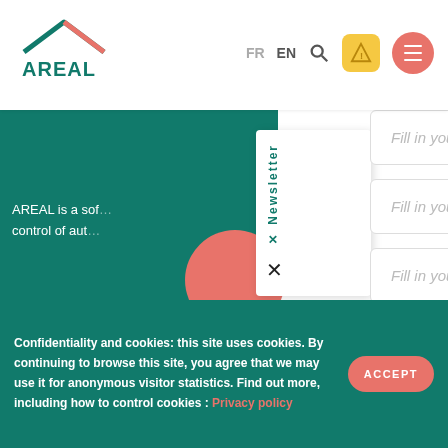[Figure (logo): AREAL logo with house/roof icon in teal and red]
FR EN
[Figure (illustration): Warning triangle icon button (yellow/orange rounded square) and hamburger menu button (salmon circle)]
AREAL is a sof... control of aut...
Newsletter
Fill in your first name
Fill in your last name
Fill in your e-mail
I have read and accept the terms of the privacy policy.
Confidentiality and cookies: this site uses cookies. By continuing to browse this site, you agree that we may use it for anonymous visitor statistics. Find out more, including how to control cookies : Privacy policy
ACCEPT